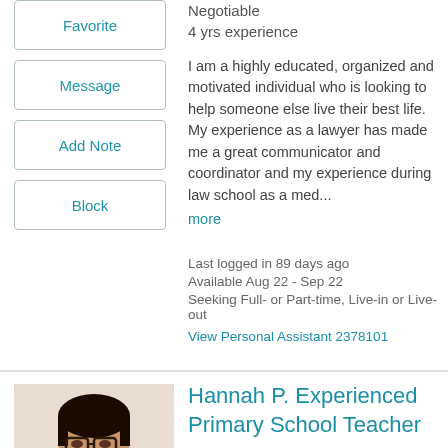Negotiable
4 yrs experience
Favorite
Message
Add Note
Block
I am a highly educated, organized and motivated individual who is looking to help someone else live their best life. My experience as a lawyer has made me a great communicator and coordinator and my experience during law school as a med...
more
Last logged in 89 days ago
Available Aug 22 - Sep 22
Seeking Full- or Part-time, Live-in or Live-out
View Personal Assistant 2378101
Hannah P. Experienced Primary School Teacher
Paris, France
32 years old